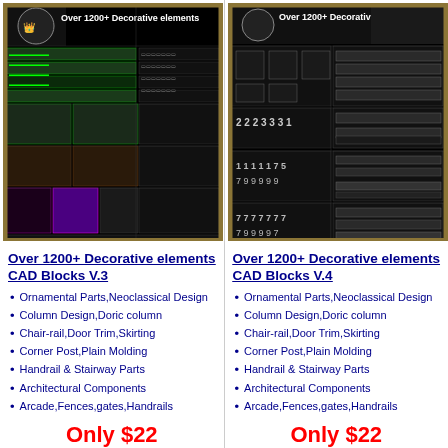[Figure (screenshot): CAD blocks product image V.3 showing over 1200+ decorative elements on black background with gold border]
Over 1200+ Decorative elements CAD Blocks V.3
Ornamental Parts,Neoclassical Design
Column Design,Doric column
Chair-rail,Door Trim,Skirting
Corner Post,Plain Molding
Handrail & Stairway Parts
Architectural Components
Arcade,Fences,gates,Handrails
Only $22
[Figure (screenshot): CAD blocks product image V.4 showing over 1200+ decorative elements on black background with gold border]
Over 1200+ Decorative elements CAD Blocks V.4
Ornamental Parts,Neoclassical Design
Column Design,Doric column
Chair-rail,Door Trim,Skirting
Corner Post,Plain Molding
Handrail & Stairway Parts
Architectural Components
Arcade,Fences,gates,Handrails
Only $22